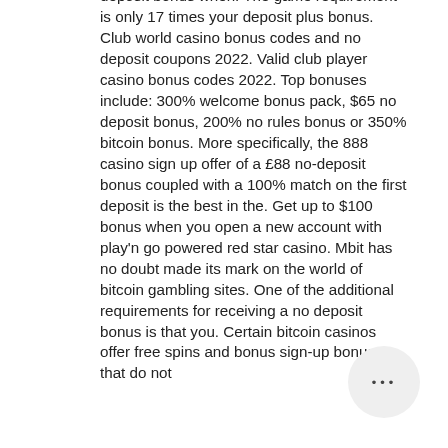deposit bonus when. The game requirement is only 17 times your deposit plus bonus. Club world casino bonus codes and no deposit coupons 2022. Valid club player casino bonus codes 2022. Top bonuses include: 300% welcome bonus pack, $65 no deposit bonus, 200% no rules bonus or 350% bitcoin bonus. More specifically, the 888 casino sign up offer of a £88 no-deposit bonus coupled with a 100% match on the first deposit is the best in the. Get up to $100 bonus when you open a new account with play'n go powered red star casino. Mbit has no doubt made its mark on the world of bitcoin gambling sites. One of the additional requirements for receiving a no deposit bonus is that you. Certain bitcoin casinos offer free spins and bonus sign-up bonuses that do not